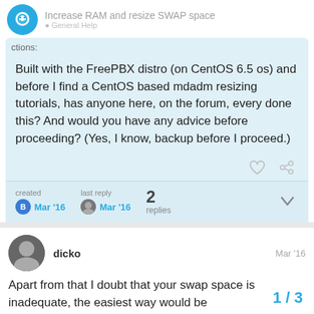Increase RAM and resize SWAP space
Built with the FreePBX distro (on CentOS 6.5 os) and before I find a CentOS based mdadm resizing tutorials, has anyone here, on the forum, every done this? And would you have any advice before proceeding? (Yes, I know, backup before I proceed.)
created Mar '16   last reply Mar '16   2 replies
dicko   Mar '16
Apart from that I doubt that your swap space is inadequate, the easiest way would be
1 / 3